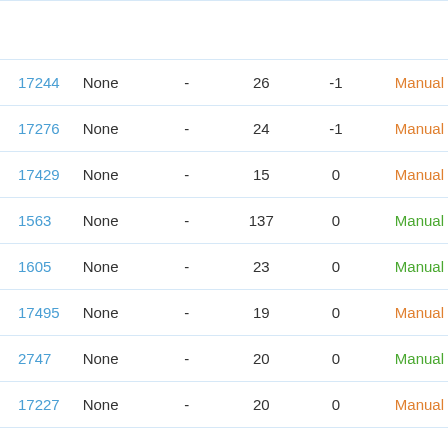| ID | Type | - | Num1 | Num2 | Status |
| --- | --- | --- | --- | --- | --- |
| 17244 | None | - | 26 | -1 | Manual |
| 17276 | None | - | 24 | -1 | Manual |
| 17429 | None | - | 15 | 0 | Manual |
| 1563 | None | - | 137 | 0 | Manual |
| 1605 | None | - | 23 | 0 | Manual |
| 17495 | None | - | 19 | 0 | Manual |
| 2747 | None | - | 20 | 0 | Manual |
| 17227 | None | - | 20 | 0 | Manual |